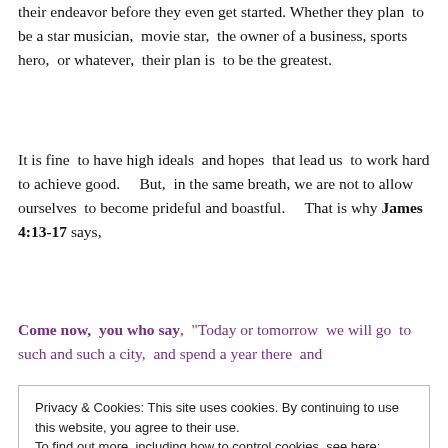their endeavor before they even get started.   Whether they plan to be a star musician, movie star, the owner of a business, sports hero, or whatever, their plan is to be the greatest.
It is fine to have high ideals and hopes that lead us to work hard to achieve good.    But, in the same breath, we are not to allow ourselves to become prideful and boastful.     That is why James 4:13-17 says,
Come now, you who say, "Today or tomorrow we will go to such and such a city, and spend a year there and
Privacy & Cookies: This site uses cookies. By continuing to use this website, you agree to their use.
To find out more, including how to control cookies, see here: Cookie Policy
Close and accept
in your arrogance; all such boasting is evil.  Therefore